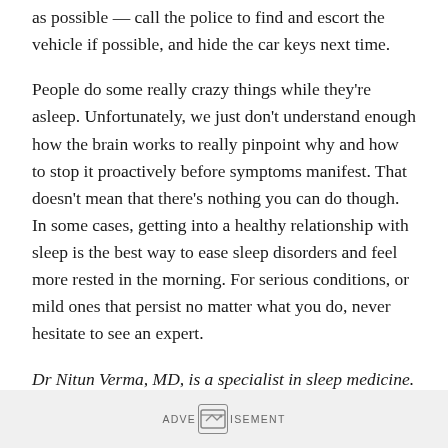as possible — call the police to find and escort the vehicle if possible, and hide the car keys next time.
People do some really crazy things while they're asleep. Unfortunately, we just don't understand enough how the brain works to really pinpoint why and how to stop it proactively before symptoms manifest. That doesn't mean that there's nothing you can do though. In some cases, getting into a healthy relationship with sleep is the best way to ease sleep disorders and feel more rested in the morning. For serious conditions, or mild ones that persist no matter what you do, never hesitate to see an expert.
Dr Nitun Verma, MD, is a specialist in sleep medicine. He is the Medical Director of the Washington Township Center for Sleep Disorders in Fremont. He has offered his tips for better sleep here before, and he graciously volunteered his
ADVERTISEMENT